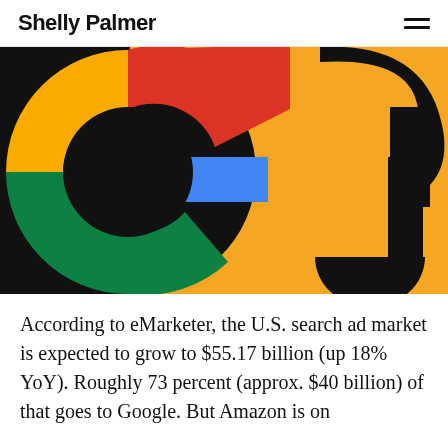Shelly Palmer
[Figure (illustration): Close-up stylized Google logo letters 'G' on colorful background with red, orange, blue, green, yellow colors on black background]
According to eMarketer, the U.S. search ad market is expected to grow to $55.17 billion (up 18% YoY). Roughly 73 percent (approx. $40 billion) of that goes to Google. But Amazon is on